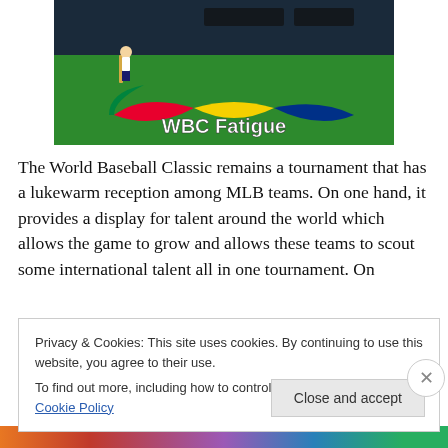[Figure (photo): Baseball player batting at WBC game, green field with colorful WBC logo painted on grass, scoreboard visible in background. White bold text overlay reads 'WBC Fatigue'.]
The World Baseball Classic remains a tournament that has a lukewarm reception among MLB teams. On one hand, it provides a display for talent around the world which allows the game to grow and allows these teams to scout some international talent all in one tournament. On
Privacy & Cookies: This site uses cookies. By continuing to use this website, you agree to their use.
To find out more, including how to control cookies, see here: Cookie Policy